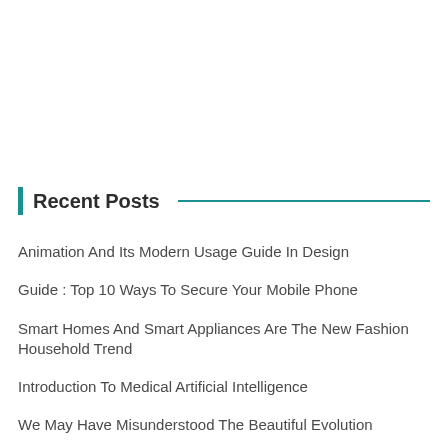Recent Posts
Animation And Its Modern Usage Guide In Design
Guide : Top 10 Ways To Secure Your Mobile Phone
Smart Homes And Smart Appliances Are The New Fashion Household Trend
Introduction To Medical Artificial Intelligence
We May Have Misunderstood The Beautiful Evolution